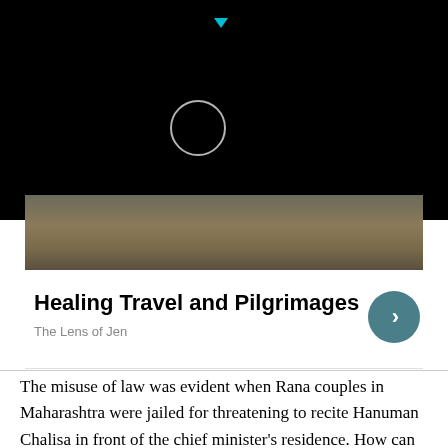[Figure (photo): Dark overlay with a circular loading indicator and a teal triangle/arrow at top. Below is a partial photo strip showing a road or path with autumn leaves and a person's feet/legs visible.]
Healing Travel and Pilgrimages
The Lens of Jen
The misuse of law was evident when Rana couples in Maharashtra were jailed for threatening to recite Hanuman Chalisa in front of the chief minister’s residence. How can the chanting of Hanuman Chalisa disturb peace in a country where every Muslim knows the culture and tradition of the country. Similarly, how can a tweet by Tajinder Singh Bagga against Delhi chief minister Arvind Kejriwal become the ground for a